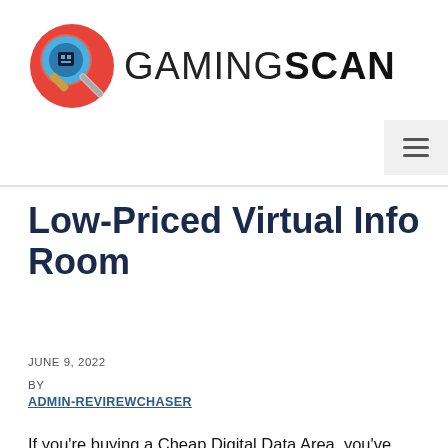[Figure (logo): GamingScan logo with red circle containing a magnifying glass over a gaming PC, followed by the text GAMINGSCAN]
Low-Priced Virtual Info Room
JUNE 9, 2022
BY
ADMIN-REVIREWCHASER
If you're buying a Cheap Digital Data Area, you've